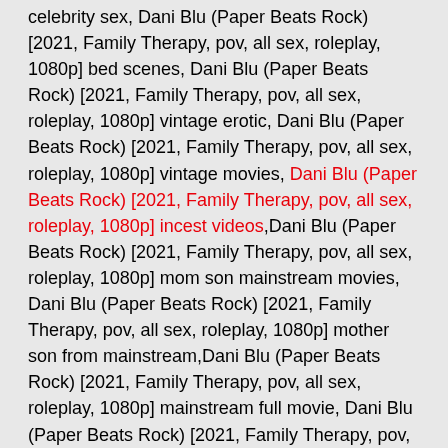celebrity sex, Dani Blu (Paper Beats Rock) [2021, Family Therapy, pov, all sex, roleplay, 1080p] bed scenes, Dani Blu (Paper Beats Rock) [2021, Family Therapy, pov, all sex, roleplay, 1080p] vintage erotic, Dani Blu (Paper Beats Rock) [2021, Family Therapy, pov, all sex, roleplay, 1080p] vintage movies, Dani Blu (Paper Beats Rock) [2021, Family Therapy, pov, all sex, roleplay, 1080p] incest videos,Dani Blu (Paper Beats Rock) [2021, Family Therapy, pov, all sex, roleplay, 1080p] mom son mainstream movies, Dani Blu (Paper Beats Rock) [2021, Family Therapy, pov, all sex, roleplay, 1080p] mother son from mainstream,Dani Blu (Paper Beats Rock) [2021, Family Therapy, pov, all sex, roleplay, 1080p] mainstream full movie, Dani Blu (Paper Beats Rock) [2021, Family Therapy, pov, all sex, roleplay, 1080p] taboo sex videos, Dani Blu (Paper Beats Rock) [2021, Family Therapy, pov, all sex, roleplay, 1080p] incesto, Dani Blu (Paper Beats Rock) [2021, Family Therapy, pov, all sex, roleplay, 1080p] inzest, Dani Blu (Paper Beats Rock) [2021, Family Therapy, pov, all sex, roleplay, 1080p] mature boy, Dani Blu (Paper Beats Rock) [2021, Family Therapy, pov, all sex, roleplay, 1080p] father daughter sex mainstream, Dani Blu (Paper Beats Rock) [2021, Family Therapy, pov, all sex, roleplay, 1080p] brother sister sex mainstream, Dani Blu (Paper Beats Rock) [2021, Family Therapy, pov, all sex, roleplay, 1080p] online incest,Download for